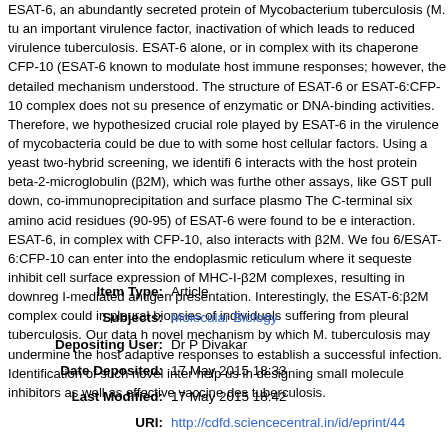ESAT-6, an abundantly secreted protein of Mycobacterium tuberculosis (M. tuberculosis), is an important virulence factor, inactivation of which leads to reduced virulence of M. tuberculosis. ESAT-6 alone, or in complex with its chaperone CFP-10 (ESAT-6:CFP-10), is known to modulate host immune responses; however, the detailed mechanism is not well understood. The structure of ESAT-6 or ESAT-6:CFP-10 complex does not suggest the presence of enzymatic or DNA-binding activities. Therefore, we hypothesized that the crucial role played by ESAT-6 in the virulence of mycobacteria could be due to interaction with some host cellular factors. Using a yeast two-hybrid screening, we identified that ESAT-6 interacts with the host protein beta-2-microglobulin (β2M), which was further confirmed by other assays, like GST pull down, co-immunoprecipitation and surface plasmon resonance. The C-terminal six amino acid residues (90-95) of ESAT-6 were found to be essential for this interaction. ESAT-6, in complex with CFP-10, also interacts with β2M. We found that ESAT-6/ESAT-6:CFP-10 can enter into the endoplasmic reticulum where it sequesters β2M to inhibit cell surface expression of MHC-I-β2M complexes, resulting in downregulation of MHC-I-mediated antigen presentation. Interestingly, the ESAT-6:β2M complex could be detected in pleural biopsies of individuals suffering from pleural tuberculosis. Our data highlights a novel mechanism by which M. tuberculosis may undermine the host adaptive immune responses to establish a successful infection. Identification of such novel interactions may help us in designing small molecule inhibitors as well as effective vaccine designs against tuberculosis.
| Field | Value |
| --- | --- |
| Item Type: | Article |
| Subjects: | Molecular Biology |
| Depositing User: | Dr P Divakar |
| Date Deposited: | 17 May 2015 18:33 |
| Last Modified: | 17 May 2015 18:42 |
| URI: | http://cdfd.sciencecentral.in/id/eprint/44 |